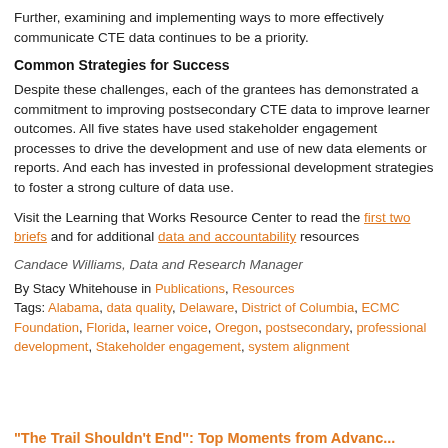Further, examining and implementing ways to more effectively communicate CTE data continues to be a priority.
Common Strategies for Success
Despite these challenges, each of the grantees has demonstrated a commitment to improving postsecondary CTE data to improve learner outcomes. All five states have used stakeholder engagement processes to drive the development and use of new data elements or reports. And each has invested in professional development strategies to foster a strong culture of data use.
Visit the Learning that Works Resource Center to read the first two briefs and for additional data and accountability resources
Candace Williams, Data and Research Manager
By Stacy Whitehouse in Publications, Resources
Tags: Alabama, data quality, Delaware, District of Columbia, ECMC Foundation, Florida, learner voice, Oregon, postsecondary, professional development, Stakeholder engagement, system alignment
"The Trail Shouldn't End": Top Moments from Advanc...